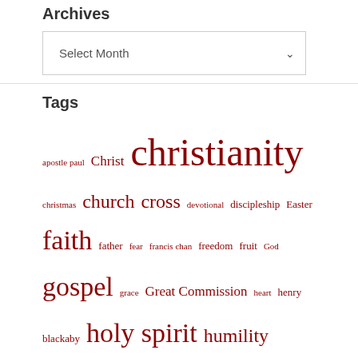Archives
Select Month (dropdown)
Tags
apostle paul Christ christianity christmas church cross devotional discipleship Easter faith father fear francis chan freedom fruit God gospel grace Great Commission heart henry blackaby holy spirit humility Jesus Jesus Christ judgment Lord's Supper love marriage obedience prayer religion